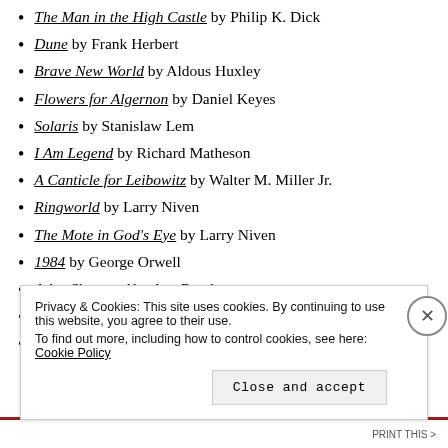The Man in the High Castle by Philip K. Dick
Dune by Frank Herbert
Brave New World by Aldous Huxley
Flowers for Algernon by Daniel Keyes
Solaris by Stanislaw Lem
I Am Legend by Richard Matheson
A Canticle for Leibowitz by Walter M. Miller Jr.
Ringworld by Larry Niven
The Mote in God's Eye by Larry Niven
1984 by George Orwell
Atlas Shrugged by Ayn Rand
A Princess of Mars by Edgar Rice Burroughs
Frankenstein by Mary Shelley
Privacy & Cookies: This site uses cookies. By continuing to use this website, you agree to their use. To find out more, including how to control cookies, see here: Cookie Policy